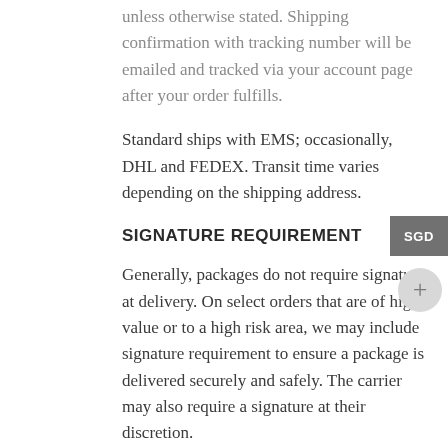unless otherwise stated. Shipping confirmation with tracking number will be emailed and tracked via your account page after your order fulfills.
Standard ships with EMS; occasionally, DHL and FEDEX. Transit time varies depending on the shipping address.
SIGNATURE REQUIREMENT
Generally, packages do not require signature at delivery. On select orders that are of high value or to a high risk area, we may include signature requirement to ensure a package is delivered securely and safely. The carrier may also require a signature at their discretion.
Your tracking will indicate whether a signature is required. We cannot remove signature